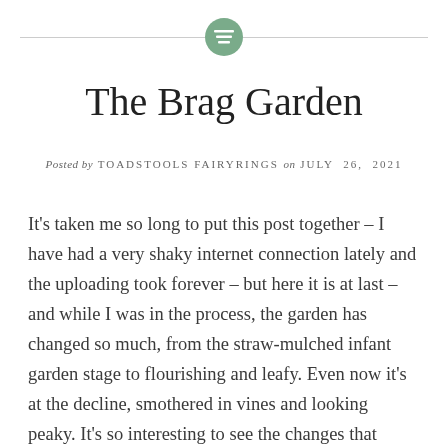[decorative header with icon and horizontal lines]
The Brag Garden
Posted by TOADSTOOLS FAIRYRINGS on JULY 26, 2021
It's taken me so long to put this post together – I have had a very shaky internet connection lately and the uploading took forever – but here it is at last – and while I was in the process, the garden has changed so much, from the straw-mulched infant garden stage to flourishing and leafy. Even now it's at the decline, smothered in vines and looking peaky. It's so interesting to see the changes that happen over the season. As much as possible I am trying to